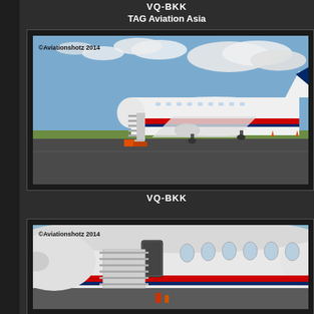VQ-BKK
TAG Aviation Asia
[Figure (photo): Photo of aircraft VQ-BKK on tarmac, white with red and blue stripe livery, stairs attached, copyright Aviationshotz 2014]
VQ-BKK
[Figure (photo): Close-up photo of aircraft VQ-BKK nose and forward fuselage with stairs, red stripe livery, copyright Aviationshotz 2014]